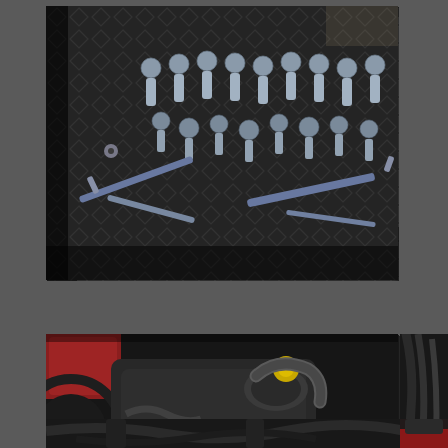[Figure (photo): Top photo spanning most of the width: assorted bolts, nuts, and fasteners spread on a dark diamond-plate metal surface, viewed at an angle]
[Figure (photo): Middle-left large photo: close-up of a vehicle engine bay showing engine components including alternator, belts, hoses, wiring harnesses, and various mechanical parts]
[Figure (photo): Middle-right partial photo: wiring harness and hoses with person in red clothing working on vehicle]
[Figure (photo): Bottom-left large photo: undercarriage or mechanical assembly with hoses, pipes, and metal brackets]
[Figure (photo): Bottom-right partial photo: close-up of vehicle mechanical components with red element visible]